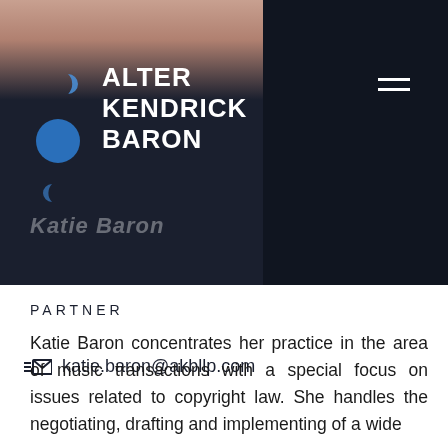[Figure (logo): Alter Kendrick Baron law firm logo with blue circular shape and three dots, followed by firm name in white bold text on dark background]
Katie Baron
PARTNER
katie.baron@akbllp.com
Katie Baron concentrates her practice in the area of music transactions with a special focus on issues related to copyright law. She handles the negotiating, drafting and implementing of a wide